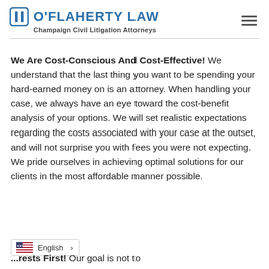O'Flaherty Law — Champaign Civil Litigation Attorneys
We Are Cost-Conscious And Cost-Effective!  We understand that the last thing you want to be spending your hard-earned money on is an attorney.  When handling your case, we always have an eye toward the cost-benefit analysis of your options.  We will set realistic expectations regarding the costs associated with your case at the outset, and will not surprise you with fees you were not expecting.  We pride ourselves in achieving optimal solutions for our clients in the most affordable manner possible.
...rests First!  Our goal is not to